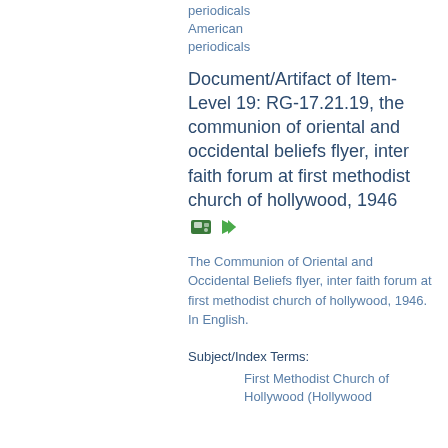periodicals American periodicals
Document/Artifact of Item-Level 19: RG-17.21.19, the communion of oriental and occidental beliefs flyer, inter faith forum at first methodist church of hollywood, 1946
The Communion of Oriental and Occidental Beliefs flyer, inter faith forum at first methodist church of hollywood, 1946. In English.
Subject/Index Terms:
First Methodist Church of Hollywood (Hollywood